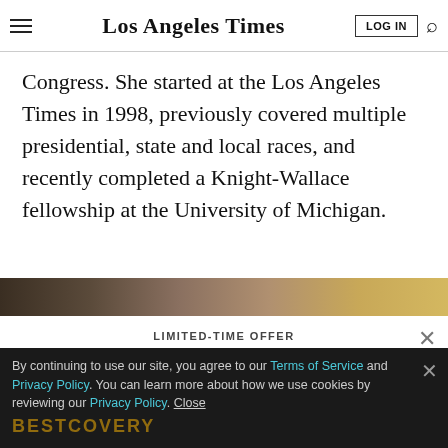Los Angeles Times
Congress. She started at the Los Angeles Times in 1998, previously covered multiple presidential, state and local races, and recently completed a Knight-Wallace fellowship at the University of Michigan.
[Figure (photo): Partial image strip at the bottom of the article section]
LIMITED-TIME OFFER
$1 for 6 Months
SUBSCRIBE NOW
By continuing to use our site, you agree to our Terms of Service and Privacy Policy. You can learn more about how we use cookies by reviewing our Privacy Policy. Close